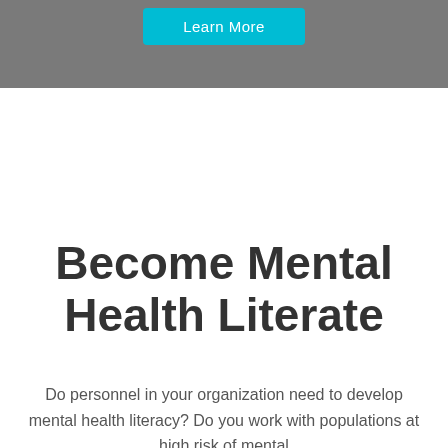[Figure (screenshot): Gray banner at top of page with a cyan 'Learn More' button]
Become Mental Health Literate
Do personnel in your organization need to develop mental health literacy? Do you work with populations at high risk of mental